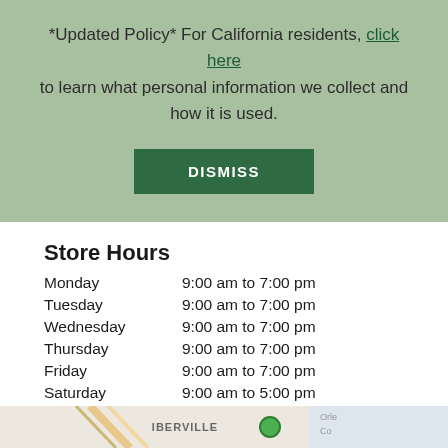*Updated Policy* For California residents, click here to learn what personal information we collect and how it is used.
DISMISS
Store Hours
| Day | Hours |
| --- | --- |
| Monday | 9:00 am to 7:00 pm |
| Tuesday | 9:00 am to 7:00 pm |
| Wednesday | 9:00 am to 7:00 pm |
| Thursday | 9:00 am to 7:00 pm |
| Friday | 9:00 am to 7:00 pm |
| Saturday | 9:00 am to 5:00 pm |
| Sunday | Closed |
[Figure (map): Partial map showing Iberville area with street overlay and map marker]